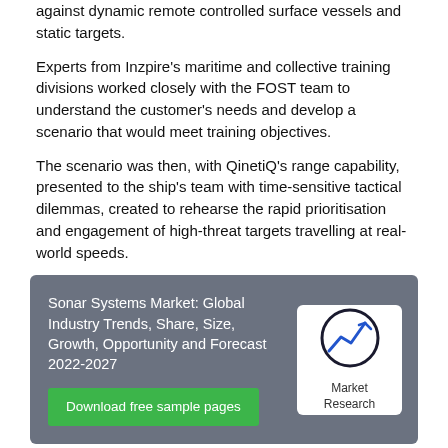against dynamic remote controlled surface vessels and static targets.
Experts from Inzpire's maritime and collective training divisions worked closely with the FOST team to understand the customer's needs and develop a scenario that would meet training objectives.
The scenario was then, with QinetiQ's range capability, presented to the ship's team with time-sensitive tactical dilemmas, created to rehearse the rapid prioritisation and engagement of high-threat targets travelling at real-world speeds.
[Figure (infographic): Advertisement box for 'Sonar Systems Market: Global Industry Trends, Share, Size, Growth, Opportunity and Forecast 2022-2027' with a green 'Download free sample pages' button and a Market Research icon on the right.]
The first two days tested the ship's ability to operate its gunnery systems against static targets in a deliberate fashion with